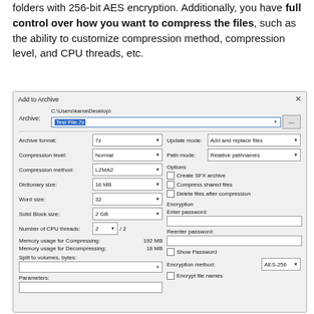folders with 256-bit AES encryption. Additionally, you have full control over how you want to compress the files, such as the ability to customize compression method, compression level, and CPU threads, etc.
[Figure (screenshot): Windows 7-Zip 'Add to Archive' dialog box showing archive settings including archive format (7z), compression level (Normal), compression method (LZMA2), dictionary size (16 MB), word size (32), solid block size (2 GB), number of CPU threads (2/2), memory usage for compressing (192 MB), memory usage for decompressing (18 MB), split to volumes, parameters fields, and encryption options with AES-256 method, enter password and reenter password fields, show password checkbox, encrypt file names checkbox.]